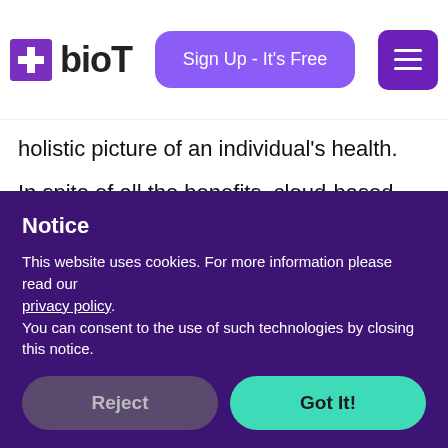[Figure (logo): bioT logo with purple cross icon and text 'bioT']
holistic picture of an individual's health.
In spite of all the benefits, cloud-based medical devices are highly exposed to security risks. Cyberattacks are increasingly common threats in the healthcare industry, doubling in 2020 alone.
Notice
This website uses cookies. For more information please read our privacy policy. You can consent to the use of such technologies by closing this notice.